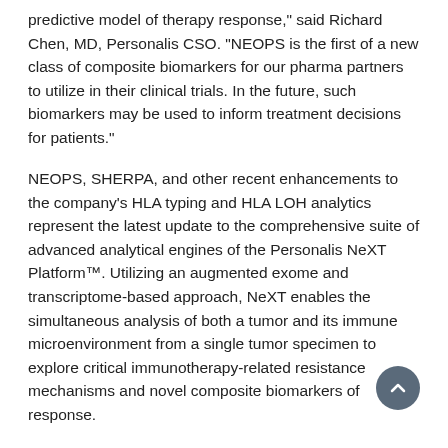predictive model of therapy response," said Richard Chen, MD, Personalis CSO. "NEOPS is the first of a new class of composite biomarkers for our pharma partners to utilize in their clinical trials. In the future, such biomarkers may be used to inform treatment decisions for patients."
NEOPS, SHERPA, and other recent enhancements to the company's HLA typing and HLA LOH analytics represent the latest update to the comprehensive suite of advanced analytical engines of the Personalis NeXT Platform™. Utilizing an augmented exome and transcriptome-based approach, NeXT enables the simultaneous analysis of both a tumor and its immune microenvironment from a single tumor specimen to explore critical immunotherapy-related resistance mechanisms and novel composite biomarkers of response.
About Personalis, Inc.
Personalis, Inc. is a leader in cancer genomics, with a focus on data, scale, efficiency and quality. Personalis operates one of the largest sequencing operations globally. In oncology, Personalis is transforming the development of next-generation therapies by providing...